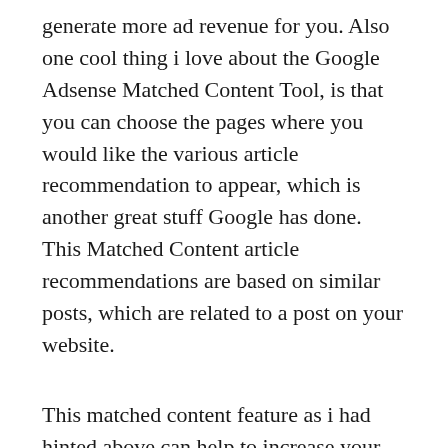generate more ad revenue for you. Also one cool thing i love about the Google Adsense Matched Content Tool, is that you can choose the pages where you would like the various article recommendation to appear, which is another great stuff Google has done.  This Matched Content article recommendations are based on similar posts, which are related to a post on your website.
This matched content feature as i had hinted above can help to increase your site's page views too, as visitors can now get more related post stuffs, increasing your sites revenue.
For those Bloggers/Site Owners that have been approved for the Matched Content Feature, this means that such websites has meet th Google minimum